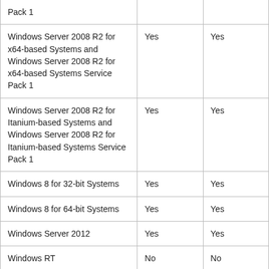| Pack 1 |  |  |
| Windows Server 2008 R2 for x64-based Systems and Windows Server 2008 R2 for x64-based Systems Service Pack 1 | Yes | Yes |
| Windows Server 2008 R2 for Itanium-based Systems and Windows Server 2008 R2 for Itanium-based Systems Service Pack 1 | Yes | Yes |
| Windows 8 for 32-bit Systems | Yes | Yes |
| Windows 8 for 64-bit Systems | Yes | Yes |
| Windows Server 2012 | Yes | Yes |
| Windows RT | No | No |